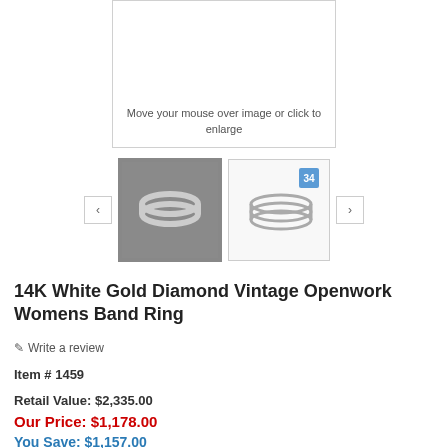[Figure (photo): Main product image area with 'Move your mouse over image or click to enlarge' text, and two thumbnail images below with navigation arrows. First thumbnail shows ring on gray background, second shows ring on white background with a blue badge labeled '34'.]
14K White Gold Diamond Vintage Openwork Womens Band Ring
✏ Write a review
Item # 1459
Retail Value: $2,335.00
Our Price: $1,178.00
You Save: $1,157.00